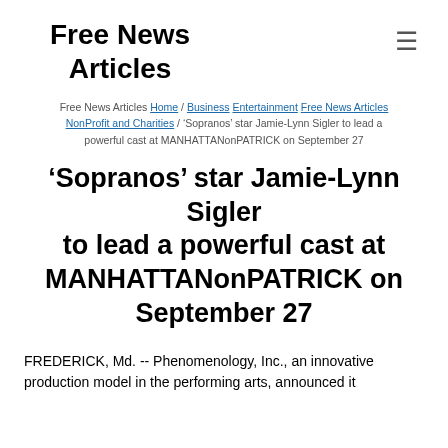Free News Articles
Free News Articles Home / Business Entertainment Free News Articles NonProfit and Charities / ‘Sopranos’ star Jamie-Lynn Sigler to lead a powerful cast at MANHATTANonPATRICK on September 27
‘Sopranos’ star Jamie-Lynn Sigler to lead a powerful cast at MANHATTANonPATRICK on September 27
FREDERICK, Md. -- Phenomenology, Inc., an innovative production model in the performing arts, announced it